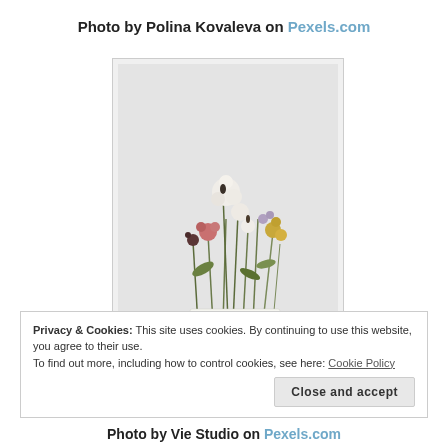Photo by Polina Kovaleva on Pexels.com
[Figure (photo): A photo of a small bouquet of wildflowers including white, pink, yellow and dark flowers with green stems, arranged in what appears to be a white 'thank you' card or note holder, against a light grey/white background.]
Privacy & Cookies: This site uses cookies. By continuing to use this website, you agree to their use.
To find out more, including how to control cookies, see here: Cookie Policy
Close and accept
Photo by Vie Studio on Pexels.com